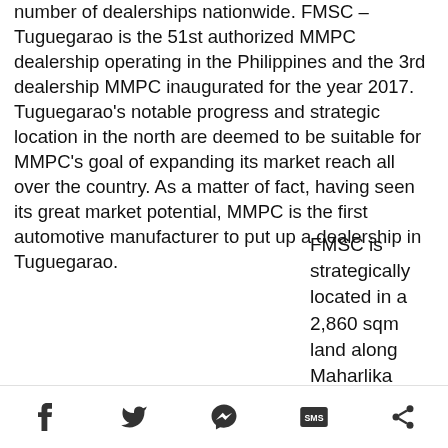number of dealerships nationwide. FMSC – Tuguegarao is the 51st authorized MMPC dealership operating in the Philippines and the 3rd dealership MMPC inaugurated for the year 2017. Tuguegarao's notable progress and strategic location in the north are deemed to be suitable for MMPC's goal of expanding its market reach all over the country. As a matter of fact, having seen its great market potential, MMPC is the first automotive manufacturer to put up a dealership in Tuguegarao.
FMSC is strategically located in a 2,860 sqm land along Maharlika Highway...
Social share bar with Facebook, Twitter, Messenger, SMS, and Share icons